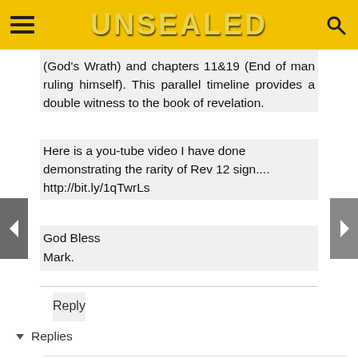UNSEALED
(God's Wrath) and chapters 11&19 (End of man ruling himself). This parallel timeline provides a double witness to the book of revelation.
Here is a you-tube video I have done demonstrating the rarity of Rev 12 sign.... http://bit.ly/1qTwrLs
God Bless
Mark.
Reply
Replies
Anonymous   12/11/2014 3:32 AM
Hello Mark,